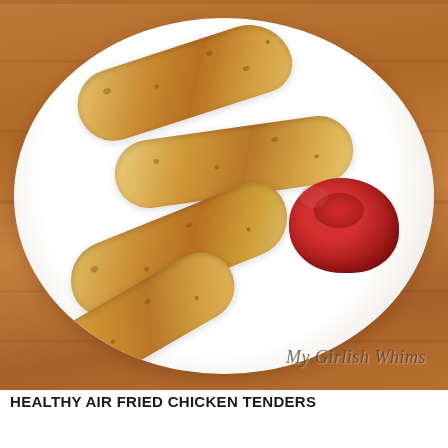[Figure (photo): A white plate on a wooden surface displaying four golden-brown crispy breaded chicken tenders and a dollop of red ketchup sauce on the right side. Watermark reads 'My Girlish Whims' in cursive at the bottom right.]
HEALTHY AIR FRIED CHICKEN TENDERS